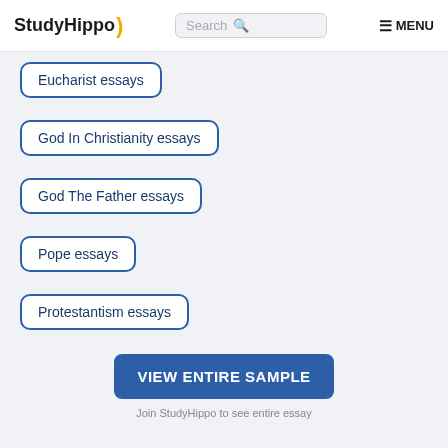StudyHippo) | Search | MENU
Eucharist essays
God In Christianity essays
God The Father essays
Pope essays
Protestantism essays
Christ essays
VIEW ENTIRE SAMPLE
Join StudyHippo to see entire essay